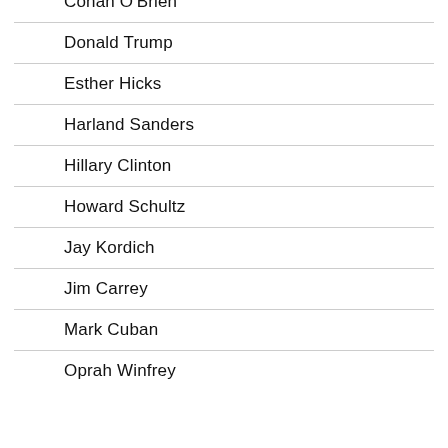Conan O'Brien
Donald Trump
Esther Hicks
Harland Sanders
Hillary Clinton
Howard Schultz
Jay Kordich
Jim Carrey
Mark Cuban
Oprah Winfrey